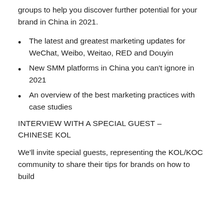groups to help you discover further potential for your brand in China in 2021.
The latest and greatest marketing updates for WeChat, Weibo, Weitao, RED and Douyin
New SMM platforms in China you can't ignore in 2021
An overview of the best marketing practices with case studies
INTERVIEW WITH A SPECIAL GUEST – CHINESE KOL
We'll invite special guests, representing the KOL/KOC community to share their tips for brands on how to build...